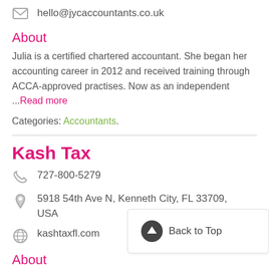hello@jycaccountants.co.uk
About
Julia is a certified chartered accountant. She began her accounting career in 2012 and received training through ACCA-approved practises. Now as an independent ...Read more
Categories: Accountants.
Kash Tax
727-800-5279
5918 54th Ave N, Kenneth City, FL 33709, USA
kashtaxfl.com
About
Tax Preparation in Kenneth City, FL
Back to Top